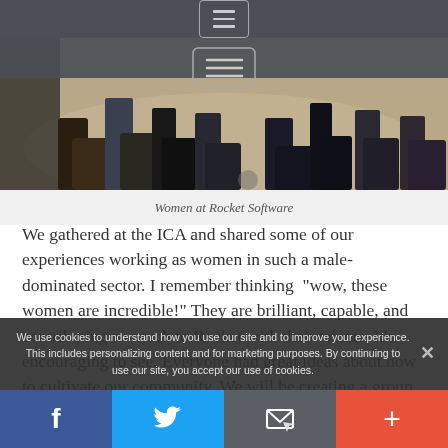[Figure (photo): Photo of women's feet and lower legs standing on a concrete floor at an event, partially cropped]
Women at Rocket Software
We gathered at the ICA and shared some of our experiences working as women in such a male-dominated sector. I remember thinking “wow, these women are incredible!” They are brilliant, capable, and contributing so much to Rocket with their talents. It’s encouraging to see. Everyone had great ideas about how to cultivate our community. We will be creating a group on Yammer (ou social networking
We use cookies to understand how you use our site and to improve your experience. This includes personalizing content and for marketing purposes. By continuing to use our site, you accept our use of cookies.